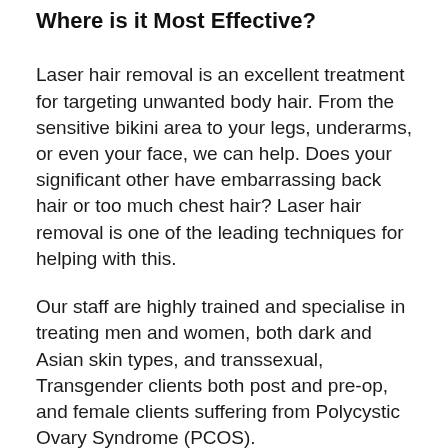Where is it Most Effective?
Laser hair removal is an excellent treatment for targeting unwanted body hair. From the sensitive bikini area to your legs, underarms, or even your face, we can help. Does your significant other have embarrassing back hair or too much chest hair? Laser hair removal is one of the leading techniques for helping with this.
Our staff are highly trained and specialise in treating men and women, both dark and Asian skin types, and transsexual, Transgender clients both post and pre-op, and female clients suffering from Polycystic Ovary Syndrome (PCOS).
With minimal downtime and highly effective results, you could have long-term hair reduction